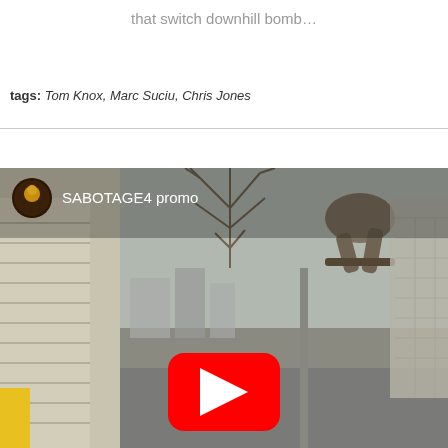that switch downhill bomb…
tags: Tom Knox, Marc Suciu, Chris Jones
[Figure (screenshot): YouTube video thumbnail showing a fisheye-lens skateboarding video titled 'SABOTAGE4 promo'. The image shows a skater mid-trick with an upside-down city background featuring bare trees and buildings. A red YouTube play button is visible in the lower center.]